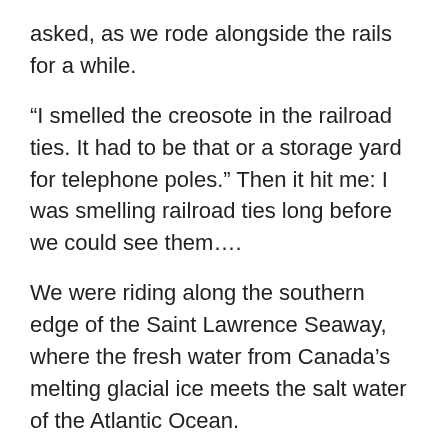asked, as we rode alongside the rails for a while.
“I smelled the creosote in the railroad ties. It had to be that or a storage yard for telephone poles.” Then it hit me: I was smelling railroad ties long before we could see them….
We were riding along the southern edge of the Saint Lawrence Seaway, where the fresh water from Canada’s melting glacial ice meets the salt water of the Atlantic Ocean.
“You’ll know when we reach the Atlantic,” I had told her the day before. “The water will change color.”
But it was my nose that notified us that we had met the Atlantic, between La Pocatière and Rivière du Loup.